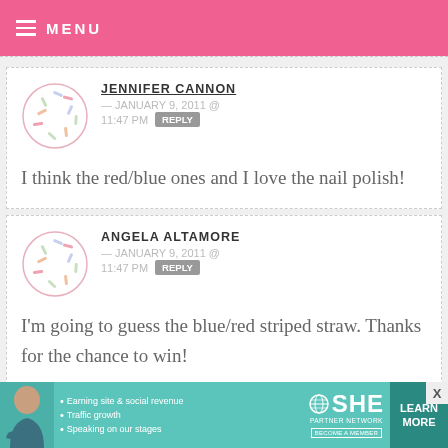MENU
JENNIFER CANNON — JANUARY 9, 2011 @ 11:47 PM REPLY
I think the red/blue ones and I love the nail polish!
ANGELA ALTAMORE — JANUARY 9, 2011 @ 11:47 PM REPLY
I'm going to guess the blue/red striped straw. Thanks for the chance to win!
[Figure (infographic): SHE Partner Network advertisement banner: photo of woman, bullet points 'Earning site & social revenue', 'Traffic growth', 'Speaking on our stages', SHE logo, LEARN MORE button]